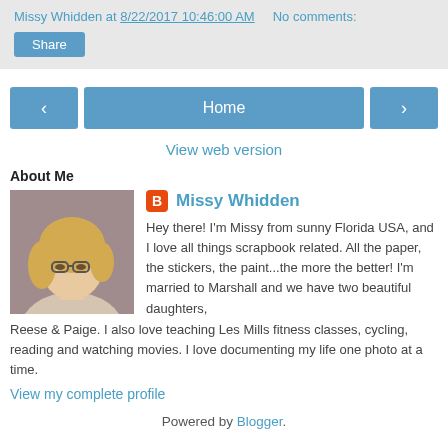Missy Whidden at 8/22/2017 10:46:00 AM    No comments:
[Figure (other): Share button (blue rounded rectangle)]
[Figure (other): Navigation row with left arrow, Home, and right arrow buttons]
View web version
About Me
[Figure (photo): Profile photo of Missy Whidden, a blonde woman with glasses]
Missy Whidden
Hey there! I'm Missy from sunny Florida USA, and I love all things scrapbook related. All the paper, the stickers, the paint...the more the better! I'm married to Marshall and we have two beautiful daughters, Reese & Paige. I also love teaching Les Mills fitness classes, cycling, reading and watching movies. I love documenting my life one photo at a time.
View my complete profile
Powered by Blogger.